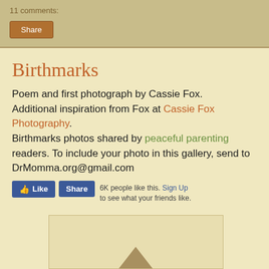11 comments:
Share
Birthmarks
Poem and first photograph by Cassie Fox. Additional inspiration from Fox at Cassie Fox Photography. Birthmarks photos shared by peaceful parenting readers. To include your photo in this gallery, send to DrMomma.org@gmail.com
[Figure (screenshot): Facebook Like and Share buttons with text '6K people like this. Sign Up to see what your friends like.']
[Figure (photo): Partial photo strip at bottom with an upward-pointing arrow/chevron visible]